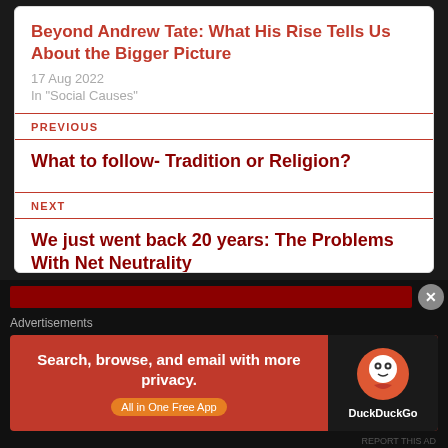Beyond Andrew Tate: What His Rise Tells Us About the Bigger Picture
17 Aug 2022
In "Social Causes"
PREVIOUS
What to follow- Tradition or Religion?
NEXT
We just went back 20 years: The Problems With Net Neutrality
Advertisements
[Figure (screenshot): DuckDuckGo advertisement banner: orange background with text 'Search, browse, and email with more privacy. All in One Free App' and DuckDuckGo logo on dark background]